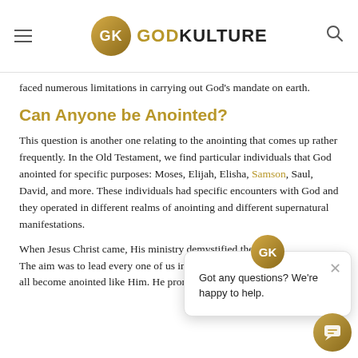GODKULTURE
faced numerous limitations in carrying out God's mandate on earth.
Can Anyone be Anointed?
This question is another one relating to the anointing that comes up rather frequently. In the Old Testament, we find particular individuals that God anointed for specific purposes: Moses, Elijah, Elisha, Samson, Saul, David, and more. These individuals had specific encounters with God and they operated in different realms of anointing and different supernatural manifestations.
When Jesus Christ came, His ministry demystified the anointing. The aim was to lead every one of us into God's presence so we could all become anointed like Him. He promised to leave us